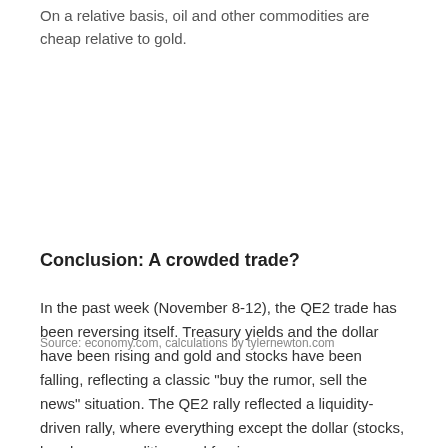On a relative basis, oil and other commodities are cheap relative to gold.
Source: economy.com, calculations by tylernewton.com
Conclusion: A crowded trade?
In the past week (November 8-12), the QE2 trade has been reversing itself. Treasury yields and the dollar have been rising and gold and stocks have been falling, reflecting a classic "buy the rumor, sell the news" situation. The QE2 rally reflected a liquidity-driven rally, where everything except the dollar (stocks, bonds, commodities, and foreign